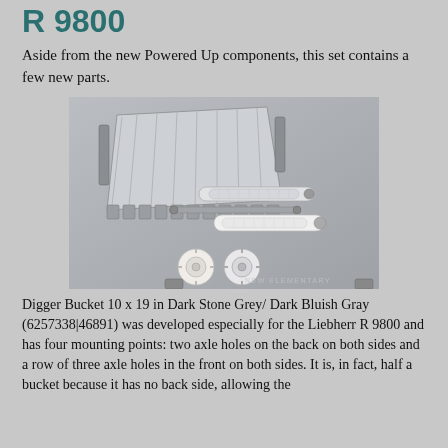R 9800
Aside from the new Powered Up components, this set contains a few new parts.
[Figure (photo): Photograph of new LEGO parts laid on a grey surface, showing a large digger bucket piece in Light Bluish Gray/transparent, two pneumatic cylinder pieces, and several small connector/gear pieces. Watermark reads NEW ELEMENTARY.]
Digger Bucket 10 x 19 in Dark Stone Grey/ Dark Bluish Gray (6257338|46891) was developed especially for the Liebherr R 9800 and has four mounting points: two axle holes on the back on both sides and a row of three axle holes in the front on both sides. It is, in fact, half a bucket because it has no back side, allowing the